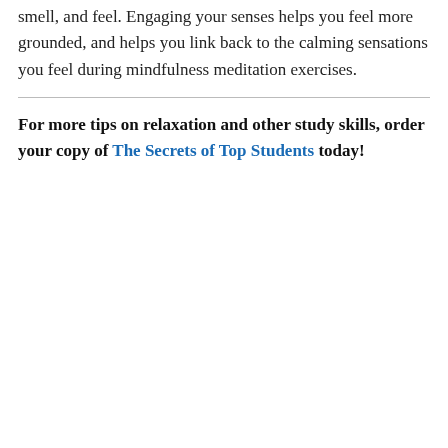smell, and feel. Engaging your senses helps you feel more grounded, and helps you link back to the calming sensations you feel during mindfulness meditation exercises.
For more tips on relaxation and other study skills, order your copy of The Secrets of Top Students today!
Privacy & Cookies: This site uses cookies. By continuing to use this website, you agree to their use.
To find out more, including how to control cookies, see here: Cookie Policy